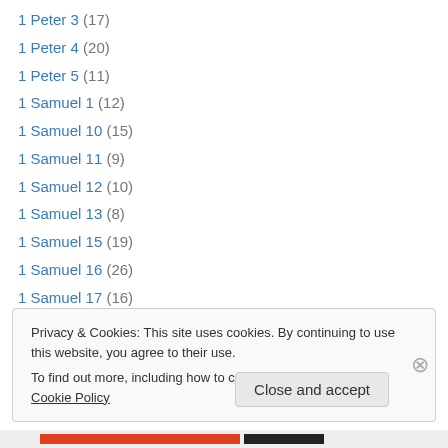1 Peter 3 (17)
1 Peter 4 (20)
1 Peter 5 (11)
1 Samuel 1 (12)
1 Samuel 10 (15)
1 Samuel 11 (9)
1 Samuel 12 (10)
1 Samuel 13 (8)
1 Samuel 15 (19)
1 Samuel 16 (26)
1 Samuel 17 (16)
1 Samuel 18 (10)
1 Samuel 19 (9)
Privacy & Cookies: This site uses cookies. By continuing to use this website, you agree to their use. To find out more, including how to control cookies, see here: Cookie Policy